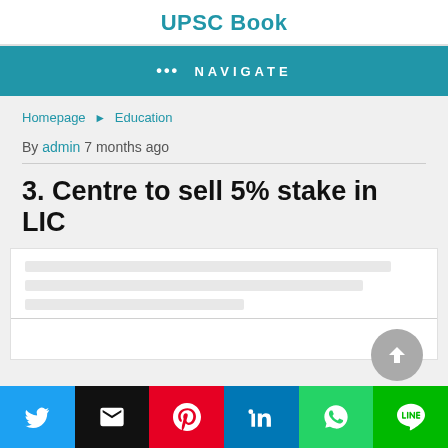UPSC Book
••• NAVIGATE
Homepage › Education
By admin 7 months ago
3. Centre to sell 5% stake in LIC
[Figure (screenshot): White content box with placeholder lines and a scroll-to-top button]
Share buttons: Twitter, Email, Pinterest, LinkedIn, WhatsApp, Line